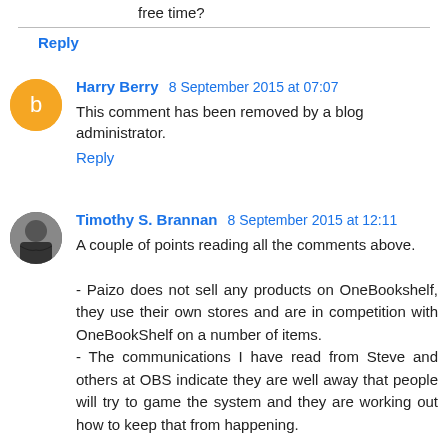free time?
Reply
Harry Berry 8 September 2015 at 07:07
This comment has been removed by a blog administrator.
Reply
Timothy S. Brannan 8 September 2015 at 12:11
A couple of points reading all the comments above.

- Paizo does not sell any products on OneBookshelf, they use their own stores and are in competition with OneBookShelf on a number of items.
- The communications I have read from Steve and others at OBS indicate they are well away that people will try to game the system and they are working out how to keep that from happening.